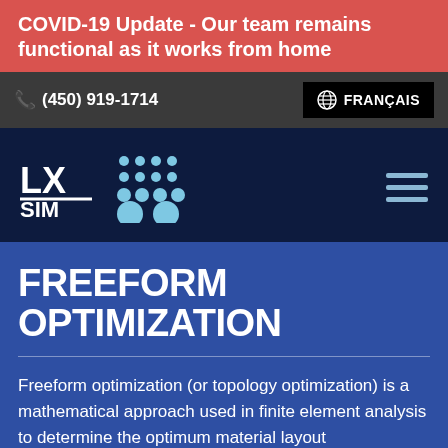COVID-19 Update - Our team remains functional as it works from home
(450) 919-1714
FRANÇAIS
[Figure (logo): LX SIM Product Sim-Optimization logo on dark navy background with dot-grid graphic and hamburger menu icon]
FREEFORM OPTIMIZATION
Freeform optimization (or topology optimization) is a mathematical approach used in finite element analysis to determine the optimum material layout